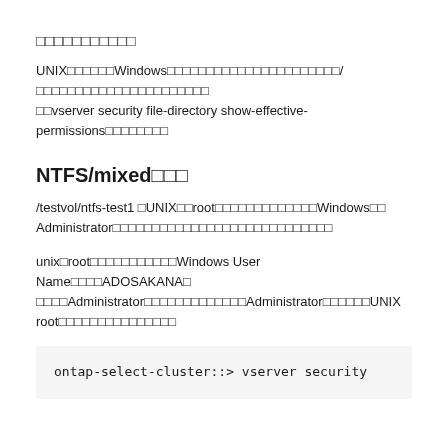□□□□□□□□□□□
UNIX□□□□□□Windows□□□□□□□□□□□□□□□□□□□□□□/□□□□□□□□□□□□□□□□□□□□□□vserver security file-directory show-effective-permissions□□□□□□□□
NTFS/mixed□□□
/testvol/ntfs-test1 □UNIX□□root□□□□□□□□□□□□□Windows□□Administrator□□□□□□□□□□□□□□□□□□□□□□□□□□□□
unix□root□□□□□□□□□□□Windows User Name□□□□ADOSAKANA□□□□□Administrator□□□□□□□□□□□□□Administrator□□□□□□UNIX root□□□□□□□□□□□□□□□
ontap-select-cluster::> vserver security